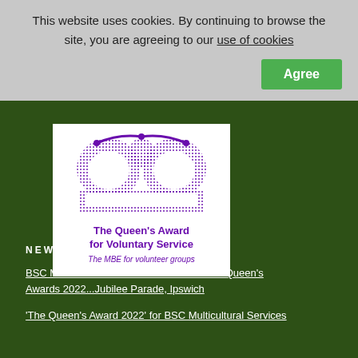This website uses cookies. By continuing to browse the site, you are agreeing to our use of cookies
[Figure (logo): The Queen's Award for Voluntary Service logo - crown made of small text/characters in purple, with text 'The Queen's Award for Voluntary Service' and subtitle 'The MBE for volunteer groups']
NEWS
BSC Multicultural Services...Suffolk Show...Queen's Awards 2022...Jubilee Parade, Ipswich
'The Queen's Award 2022' for BSC Multicultural Services